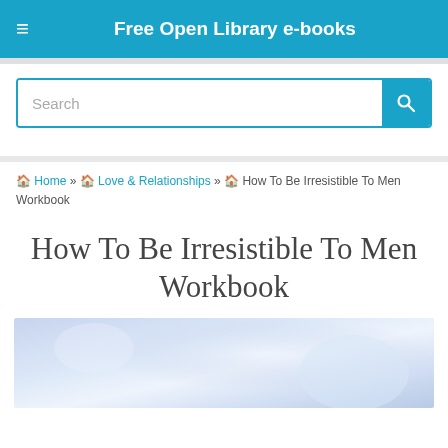Free Open Library e-books
Search
🏠 Home » 🏠 Love & Relationships » 🏠 How To Be Irresistible To Men Workbook
How To Be Irresistible To Men Workbook
[Figure (photo): Soft blue-toned abstract book cover image for 'How To Be Irresistible To Men Workbook']